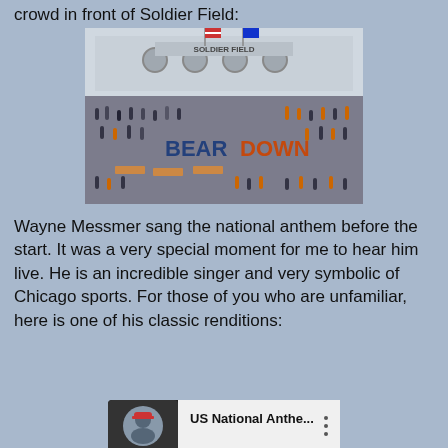crowd in front of Soldier Field:
[Figure (photo): Crowd of people in front of Soldier Field stadium with a large 'BEAR DOWN' sign in the plaza area, people milling around, flags visible]
Wayne Messmer sang the national anthem before the start. It was a very special moment for me to hear him live. He is an incredible singer and very symbolic of Chicago sports. For those of you who are unfamiliar, here is one of his classic renditions:
[Figure (screenshot): YouTube video thumbnail showing 'US National Anthe...' with a profile picture of a person in a baseball cap and a vertical dots menu icon]